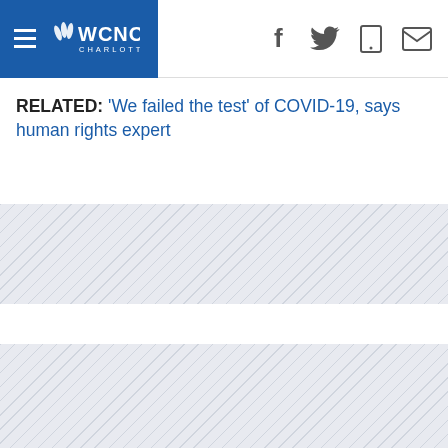WCNC Charlotte
RELATED: 'We failed the test' of COVID-19, says human rights expert
[Figure (other): Advertisement placeholder block with diagonal stripe pattern]
[Figure (other): Advertisement placeholder block with diagonal stripe pattern]
[Figure (other): Advertisement placeholder block with diagonal stripe pattern]